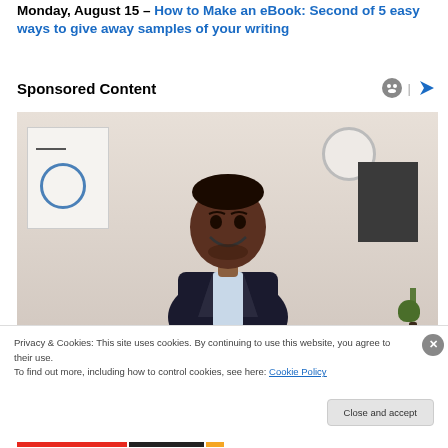Monday, August 15 – How to Make an eBook: Second of 5 easy ways to give away samples of your writing
Sponsored Content
[Figure (photo): Smiling young Black man in a business suit standing in an office environment with a whiteboard, clock on the wall, and plant in the background]
Privacy & Cookies: This site uses cookies. By continuing to use this website, you agree to their use.
To find out more, including how to control cookies, see here: Cookie Policy
Close and accept